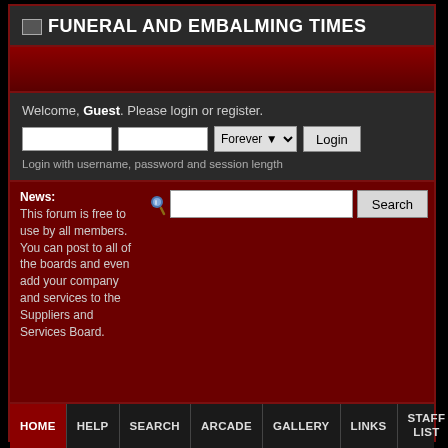FUNERAL AND EMBALMING TIMES
Welcome, Guest. Please login or register.
Login with username, password and session length
News: This forum is free to use by all members. You can post to all of the boards and even add your company and services to the Suppliers and Services Board.
HOME  HELP  SEARCH  ARCADE  GALLERY  LINKS  STAFF LIST  CALENDAR  LOG
FUNERAL AND EMBALMING TIMES > Forum > Recent Posts